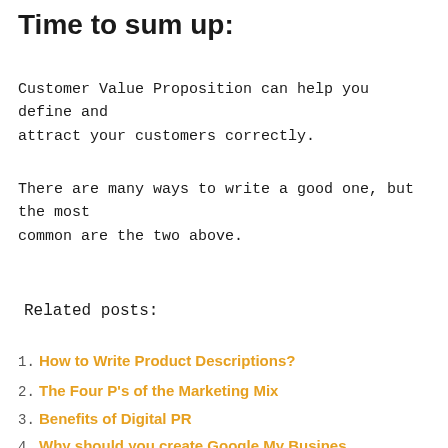Time to sum up:
Customer Value Proposition can help you define and attract your customers correctly.
There are many ways to write a good one, but the most common are the two above.
Related posts:
How to Write Product Descriptions?
The Four P's of the Marketing Mix
Benefits of Digital PR
Why should you create Google My Business